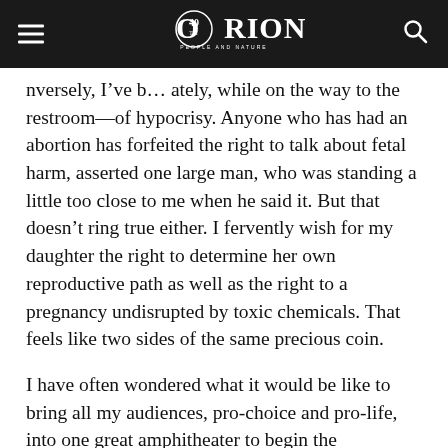Orion — People and Nature (40th anniversary logo)
nversely, I've b… ately, while on the way to the restroom—of hypocrisy. Anyone who has had an abortion has forfeited the right to talk about fetal harm, asserted one large man, who was standing a little too close to me when he said it. But that doesn’t ring true either. I fervently wish for my daughter the right to determine her own reproductive path as well as the right to a pregnancy undisrupted by toxic chemicals. That feels like two sides of the same precious coin.
I have often wondered what it would be like to bring all my audiences, pro-choice and pro-life, into one great amphitheater to begin the environmental conversation I imagine. I could start with the sentence that is always an applause line no matter whom I am addressing: “Let’s agree that any chemical with the power to extinguish a human